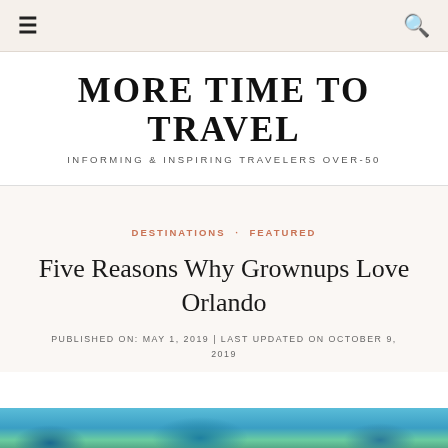≡  🔍
MORE TIME TO TRAVEL
INFORMING & INSPIRING TRAVELERS OVER-50
DESTINATIONS · FEATURED
Five Reasons Why Grownups Love Orlando
PUBLISHED ON: MAY 1, 2019 | LAST UPDATED ON OCTOBER 9, 2019
[Figure (photo): Partial view of a travel destination image, appears to show water or a blue sky scene with tropical elements]